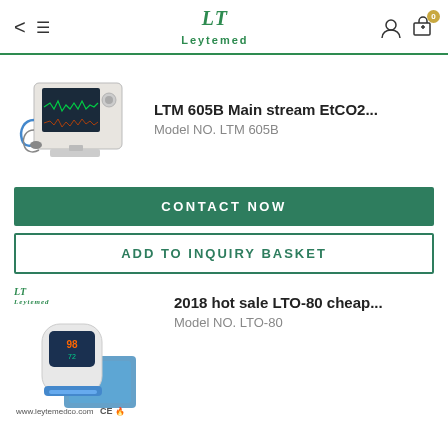Leytemed
LTM 605B Main stream EtCO2... Model NO. LTM 605B
[Figure (photo): Medical patient monitor device LTM 605B with screen and attached cables/sensors]
CONTACT NOW
ADD TO INQUIRY BASKET
2018 hot sale LTO-80 cheap... Model NO. LTO-80
[Figure (photo): Fingertip pulse oximeter LTO-80 with packaging, showing CE marking]